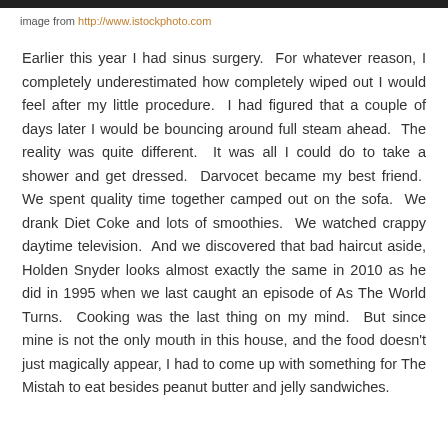image from http://www.istockphoto.com
Earlier this year I had sinus surgery.  For whatever reason, I completely underestimated how completely wiped out I would feel after my little procedure.  I had figured that a couple of days later I would be bouncing around full steam ahead.  The reality was quite different.  It was all I could do to take a shower and get dressed.  Darvocet became my best friend.  We spent quality time together camped out on the sofa.  We drank Diet Coke and lots of smoothies.  We watched crappy daytime television.  And we discovered that bad haircut aside, Holden Snyder looks almost exactly the same in 2010 as he did in 1995 when we last caught an episode of As The World Turns.  Cooking was the last thing on my mind.  But since mine is not the only mouth in this house, and the food doesn't just magically appear, I had to come up with something for The Mistah to eat besides peanut butter and jelly sandwiches.